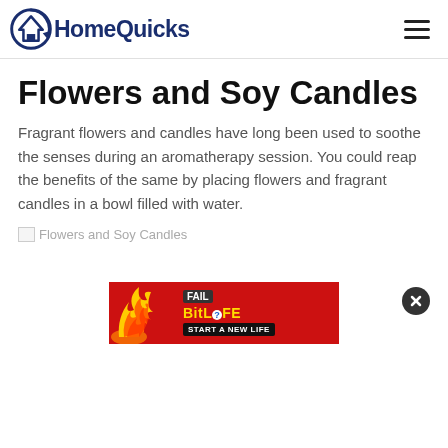HomeQuicks
Flowers and Soy Candles
Fragrant flowers and candles have long been used to soothe the senses during an aromatherapy session. You could reap the benefits of the same by placing flowers and fragrant candles in a bowl filled with water.
[Figure (illustration): Broken image placeholder labeled 'Flowers and Soy Candles']
[Figure (screenshot): Advertisement banner for BitLife game showing flames, a character, and text 'FAIL', 'START A NEW LIFE']